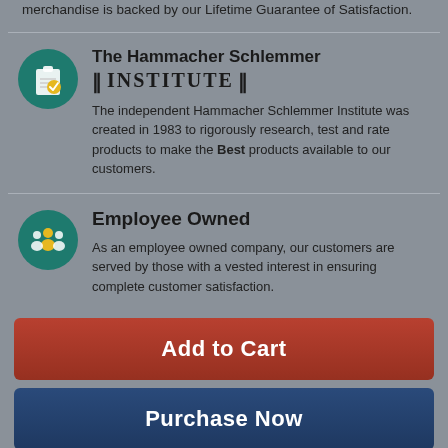merchandise is backed by our Lifetime Guarantee of Satisfaction.
[Figure (illustration): Teal circular icon with a clipboard and checkmark]
The Hammacher Schlemmer INSTITUTE
The independent Hammacher Schlemmer Institute was created in 1983 to rigorously research, test and rate products to make the Best products available to our customers.
[Figure (illustration): Teal circular icon with three person/employee figures]
Employee Owned
As an employee owned company, our customers are served by those with a vested interest in ensuring complete customer satisfaction.
Add to Cart
Purchase Now